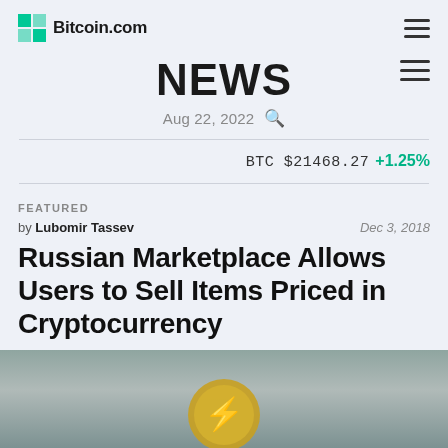Bitcoin.com
NEWS
Aug 22, 2022
BTC $21468.27 +1.25%
FEATURED
by Lubomir Tassev  Dec 3, 2018
Russian Marketplace Allows Users to Sell Items Priced in Cryptocurrency
[Figure (photo): Partial view of a coin with a lightning bolt symbol on a muted teal/grey background]